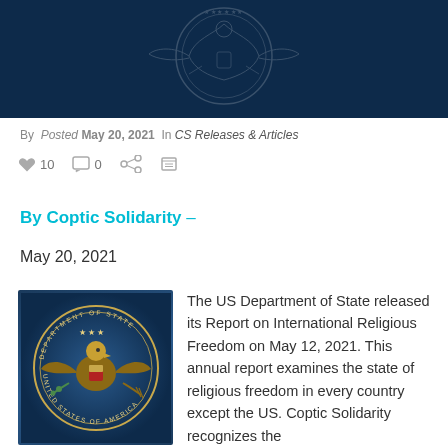[Figure (illustration): US government website dark navy header banner with faint eagle/seal watermark]
By  Posted May 20, 2021  In CS Releases & Articles
[Figure (infographic): Social interaction row: heart icon with count 10, comment icon with count 0, share icon, print icon]
By Coptic Solidarity –
May 20, 2021
[Figure (photo): US Department of State seal on blue background]
The US Department of State released its Report on International Religious Freedom on May 12, 2021. This annual report examines the state of religious freedom in every country except the US. Coptic Solidarity recognizes the